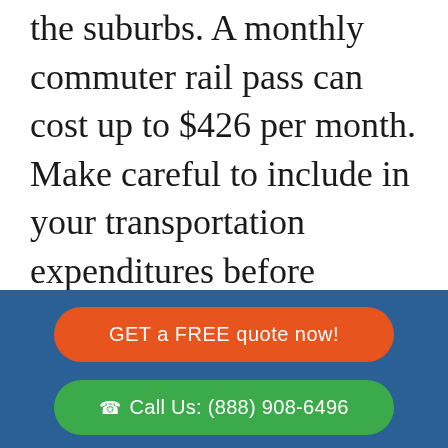the suburbs. A monthly commuter rail pass can cost up to $426 per month. Make careful to include in your transportation expenditures before signing your next lease.

Bicycling is getting more popular in
GET a FREE quote now!
Call Us: (888) 908-6496